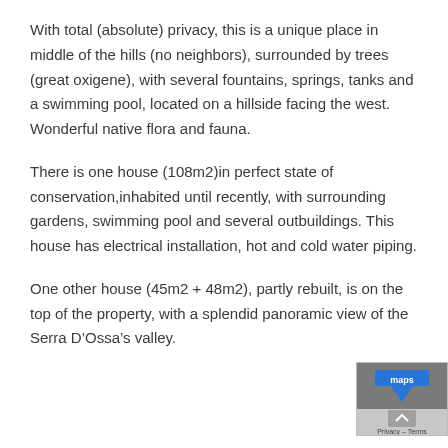With total (absolute) privacy, this is a unique place in middle of the hills (no neighbors), surrounded by trees (great oxigene), with several fountains, springs, tanks and a swimming pool, located on a hillside facing the west. Wonderful native flora and fauna.
There is one house (108m2)in perfect state of conservation,inhabited until recently, with surrounding gardens, swimming pool and several outbuildings. This house has electrical installation, hot and cold water piping.
One other house (45m2 + 48m2), partly rebuilt, is on the top of the property, with a splendid panoramic view of the Serra D’Ossa’s valley.
[Figure (other): Google Maps widget with logo and upward arrow button showing Privacy and Terms text]